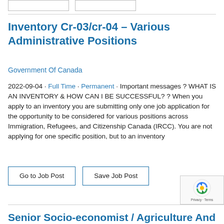Inventory Cr-03/cr-04 – Various Administrative Positions
Government Of Canada
2022-09-04 · Full Time · Permanent · Important messages ? WHAT IS AN INVENTORY & HOW CAN I BE SUCCESSFUL? ? When you apply to an inventory you are submitting only one job application for the opportunity to be considered for various positions across Immigration, Refugees, and Citizenship Canada (IRCC). You are not applying for one specific position, but to an inventory
Go to Job Post
Save Job Post
Senior Socio-economist / Agriculture And